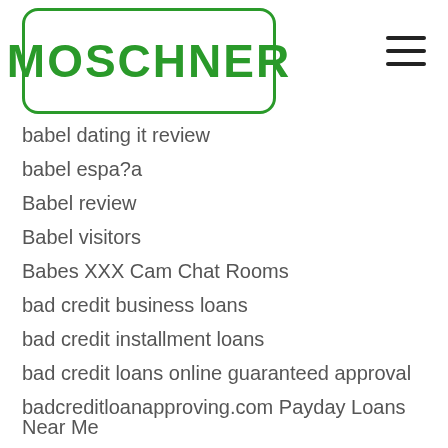MOSCHNER
babel dating it review
babel espa?a
Babel review
Babel visitors
Babes XXX Cam Chat Rooms
bad credit business loans
bad credit installment loans
bad credit loans online guaranteed approval
badcreditloanapproving.com Payday Loans Near Me
badcreditloanapproving.com Payday Loans Online
badcreditloansadvisor.com Payday Loans Near Me
badcreditloansadvisor.com Payday Loans Online